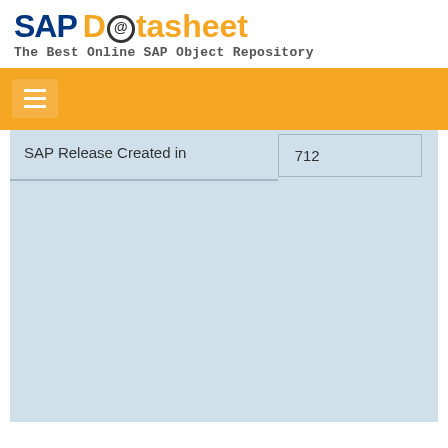SAP Datasheet - The Best Online SAP Object Repository
| SAP Release Created in |  |
| --- | --- |
| SAP Release Created in | 712 |